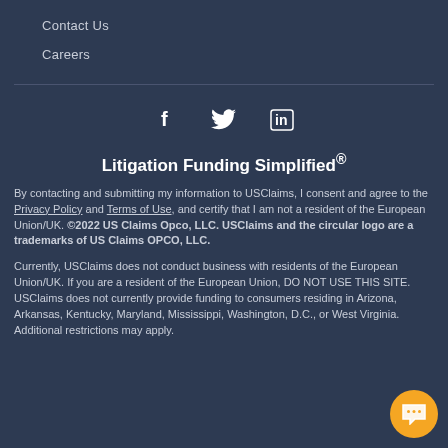Contact Us
Careers
[Figure (infographic): Social media icons: Facebook (f), Twitter (bird), LinkedIn (in)]
Litigation Funding Simplified®
By contacting and submitting my information to USClaims, I consent and agree to the Privacy Policy and Terms of Use, and certify that I am not a resident of the European Union/UK. ©2022 US Claims Opco, LLC. USClaims and the circular logo are a trademarks of US Claims OPCO, LLC.
Currently, USClaims does not conduct business with residents of the European Union/UK. If you are a resident of the European Union, DO NOT USE THIS SITE. USClaims does not currently provide funding to consumers residing in Arizona, Arkansas, Kentucky, Maryland, Mississippi, Washington, D.C., or West Virginia. Additional restrictions may apply.